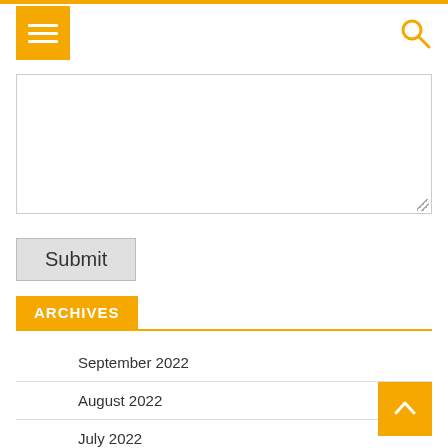[Figure (screenshot): Orange top navigation bar with hamburger menu button (orange square with three white lines) on the left and orange search icon (magnifying glass) on the right.]
[Figure (screenshot): Empty textarea input box with a resize handle in the bottom-right corner.]
Submit
ARCHIVES
September 2022
August 2022
July 2022
June 2022